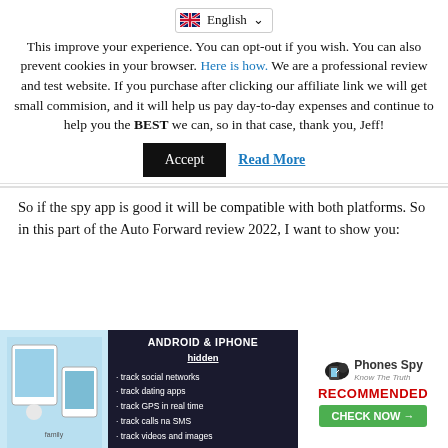This [English language selector] improve your experience. You can opt-out if you wish. You can also prevent cookies in your browser. Here is how. We are a professional review and test website. If you purchase after clicking our affiliate link we will get small commision, and it will help us pay day-to-day expenses and continue to help you the BEST we can, so in that case, thank you, Jeff!
Accept   Read More
So if the spy app is good it will be compatible with both platforms. So in this part of the Auto Forward review 2022, I want to show you:
Review of Auto Forward for Android Spy
[Figure (infographic): Advertisement banner with two panels: left panel shows Android & iPhone hidden spy app ad with bullet points (track social networks, track dating apps, track GPS in real time, track calls na SMS, track videos and images) on dark background with product image; right panel shows Phones Spy Know The Truth logo with RECOMMENDED text and CHECK NOW arrow button on green background.]